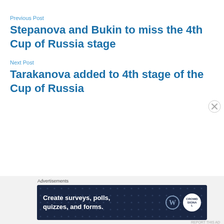Previous Post
Stepanova and Bukin to miss the 4th Cup of Russia stage
Next Post
Tarakanova added to 4th stage of the Cup of Russia
Advertisements
[Figure (other): Advertisement banner: Create surveys, polls, quizzes, and forms. WordPress and Crown logo.]